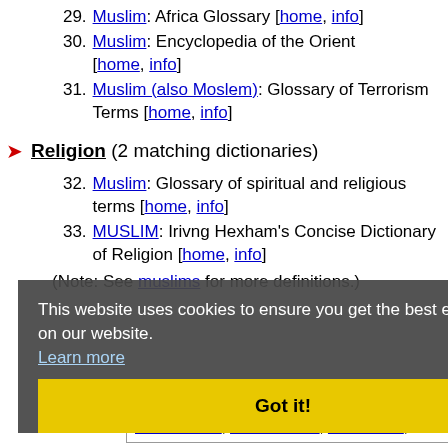29. Muslim: Africa Glossary [home, info]
30. Muslim: Encyclopedia of the Orient [home, info]
31. Muslim (also Moslem): Glossary of Terrorism Terms [home, info]
Religion (2 matching dictionaries)
32. Muslim: Glossary of spiritual and religious terms [home, info]
33. MUSLIM: Irivng Hexham's Concise Dictionary of Religion [home, info]
(Note: See muslims for more definitions.)
This website uses cookies to ensure you get the best experience on our website. Learn more
Got it!
Phrases that include muslim: black muslim, shiite muslim, shi'ite muslim, anti muslim,